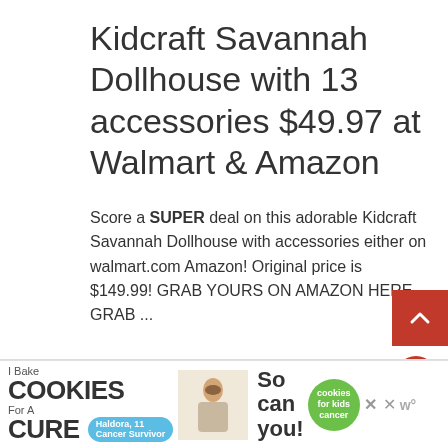Kidcraft Savannah Dollhouse with 13 accessories $49.97 at Walmart & Amazon
Score a SUPER deal on this adorable Kidcraft Savannah Dollhouse with accessories either on walmart.com Amazon! Original price is $149.99! GRAB YOURS ON AMAZON HERE GRAB ...
[Figure (infographic): Advertisement banner: 'I Bake COOKIES For A CURE' with Haldora, 11 Cancer Survivor badge, photo of girl, 'So can you!' text, Cookies for Kids Cancer green circle logo, close buttons and W logo]